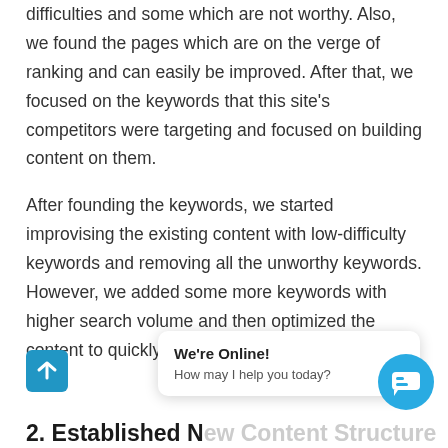difficulties and some which are not worthy. Also, we found the pages which are on the verge of ranking and can easily be improved. After that, we focused on the keywords that this site's competitors were targeting and focused on building content on them.
After founding the keywords, we started improvising the existing content with low-difficulty keywords and removing all the unworthy keywords. However, we added some more keywords with higher search volume and then optimized the content to quickly increase the traffic.
[Figure (other): We're Online! chat widget popup with message 'How may I help you today?', a back-to-top arrow button in blue, and a circular chat icon button in blue]
2. Established New Content Structure